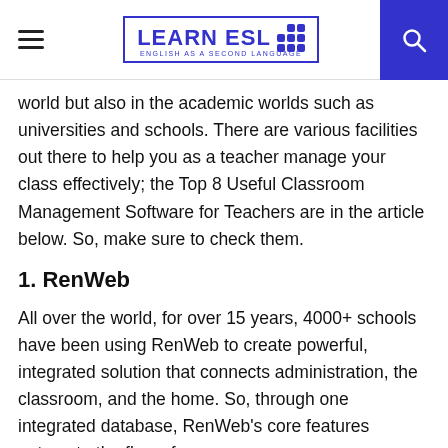LEARN ESL — ENGLISH AS A SECOND LANGUAGE
world but also in the academic worlds such as universities and schools. There are various facilities out there to help you as a teacher manage your class effectively; the Top 8 Useful Classroom Management Software for Teachers are in the article below. So, make sure to check them.
1. RenWeb
All over the world, for over 15 years, 4000+ schools have been using RenWeb to create powerful, integrated solution that connects administration, the classroom, and the home. So, through one integrated database, RenWeb's core features automate the flow of